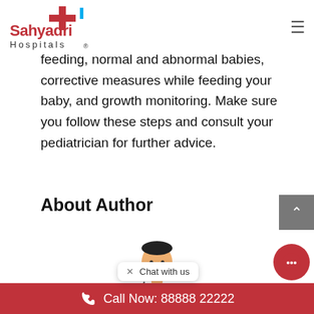Sahyadri Hospitals
feeding, normal and abnormal babies, corrective measures while feeding your baby, and growth monitoring. Make sure you follow these steps and consult your pediatrician for further advice.
About Author
[Figure (illustration): Doctor/physician avatar illustration showing a person in a white coat]
[Figure (other): Chat with us bubble with X close button]
Call Now: 88888 22222